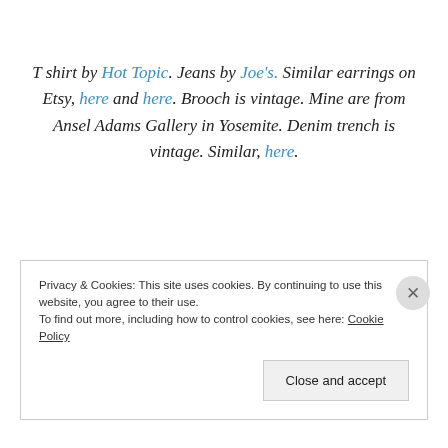T shirt by Hot Topic. Jeans by Joe's. Similar earrings on Etsy, here and here. Brooch is vintage. Mine are from Ansel Adams Gallery in Yosemite. Denim trench is vintage. Similar, here.
Photos by Evan Hartzell.
Privacy & Cookies: This site uses cookies. By continuing to use this website, you agree to their use. To find out more, including how to control cookies, see here: Cookie Policy
Close and accept